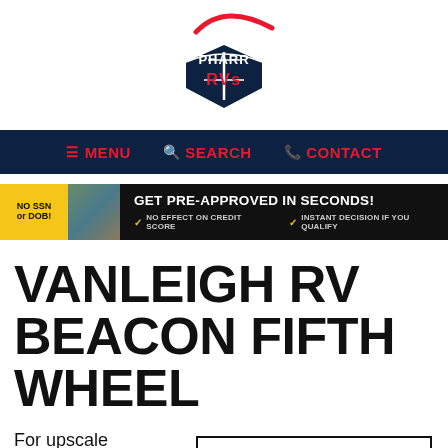[Figure (logo): Pharr RVs logo: navy pentagon shape with road lines, red curved arc above, text PHARR RVs in navy and red]
[Figure (infographic): Navigation bar with dark navy background showing MENU, SEARCH, CONTACT links in red, uppercase]
[Figure (infographic): Promotional banner: yellow label NO SSN or DOB!, RV image, GET PRE-APPROVED IN SECONDS!, NO EFFECT ON CREDIT SCORE, INSTANT DECISION IF YOU QUALIFY]
VANLEIGH RV BEACON FIFTH WHEEL
For upscale appointments, luxury features, and quality
[Figure (logo): BEACON wordmark in bordered rectangle, thin letterforms, large letter-spacing]